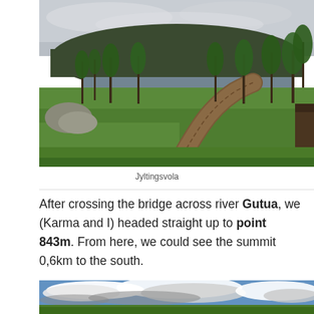[Figure (photo): Panoramic outdoor photo of Jyltingsvola: a wooden boardwalk path curving through green meadows toward a lake, surrounded by tall thin trees (birch and spruce), with a hill covered in dark forest in the background under an overcast grey sky. A wooden cabin is visible on the right edge.]
Jyltingsvola
After crossing the bridge across river Gutua, we (Karma and I) headed straight up to point 843m. From here, we could see the summit 0,6km to the south.
[Figure (photo): Partial panoramic photo showing a blue sky with dramatic white and grey clouds, with a green hillside landscape visible at the bottom edge.]